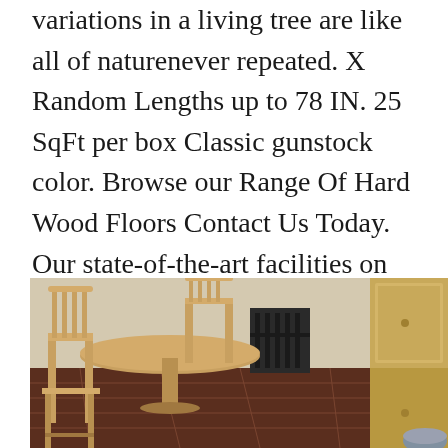variations in a living tree are like all of naturenever repeated. X Random Lengths up to 78 IN. 25 SqFt per box Classic gunstock color. Browse our Range Of Hard Wood Floors Contact Us Today. Our state-of-the-art facilities on the edge of Appalachia are designed with our high-quality end product at its core.
[Figure (photo): Interior photo showing a wooden dining table and chairs with spindle backs on dark hardwood flooring, with light wood kitchen cabinets visible on the right side.]